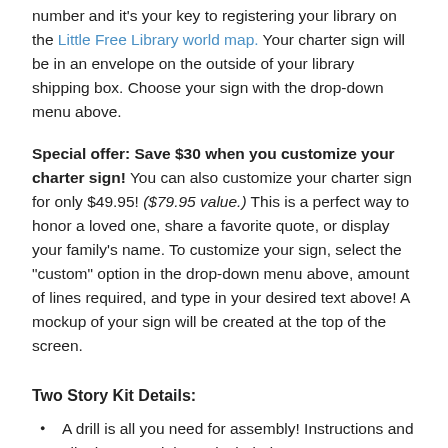number and it's your key to registering your library on the Little Free Library world map. Your charter sign will be in an envelope on the outside of your library shipping box. Choose your sign with the drop-down menu above.
Special offer: Save $30 when you customize your charter sign! You can also customize your charter sign for only $49.95! ($79.95 value.) This is a perfect way to honor a loved one, share a favorite quote, or display your family's name. To customize your sign, select the "custom" option in the drop-down menu above, amount of lines required, and type in your desired text above! A mockup of your sign will be created at the top of the screen.
Two Story Kit Details:
A drill is all you need for assembly! Instructions and all other materials are included.